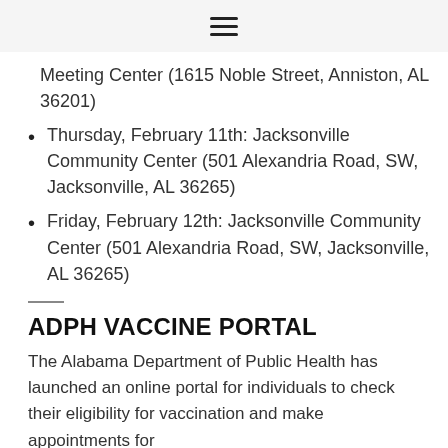≡
Meeting Center (1615 Noble Street, Anniston, AL 36201)
Thursday, February 11th: Jacksonville Community Center (501 Alexandria Road, SW, Jacksonville, AL 36265)
Friday, February 12th: Jacksonville Community Center (501 Alexandria Road, SW, Jacksonville, AL 36265)
ADPH VACCINE PORTAL
The Alabama Department of Public Health has launched an online portal for individuals to check their eligibility for vaccination and make appointments for